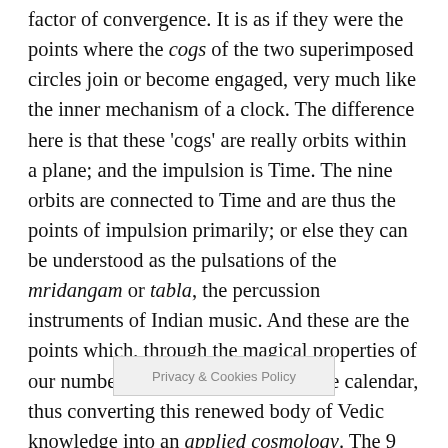factor of convergence. It is as if they were the points where the cogs of the two superimposed circles join or become engaged, very much like the inner mechanism of a clock. The difference here is that these 'cogs' are really orbits within a plane; and the impulsion is Time. The nine orbits are connected to Time and are thus the points of impulsion primarily; or else they can be understood as the pulsations of the mridangam or tabla, the percussion instruments of Indian music. And these are the points which, through the magical properties of our number system, we connect to the calendar, thus converting this renewed body of Vedic knowledge into an applied cosmology. The 9 division with its balancing Sacred Triangle is the vertical dimension and the time key. Its inner pulsation is to the beat of 3. The 12 is the horizontal base, the field. The 'angles' of this base are the four Cardinal Points and therefore its pulsation is 4. The only place in the G[...] ardinal Points meet the orbital [...] he wheel